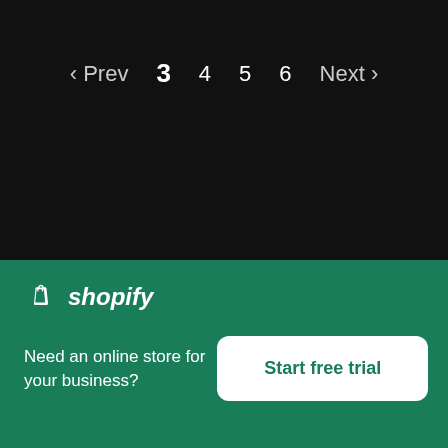‹ Prev  3  4  5  6  Next ›
Start a business
Most everything you need to get started — photos
[Figure (screenshot): Shopify advertisement banner with logo, tagline 'Need an online store for your business?' and 'Start free trial' CTA button]